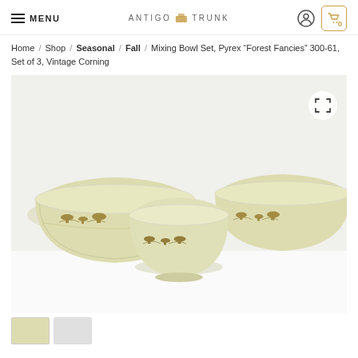MENU | Antigo Trunk | [user icon] [cart: 0]
Home / Shop / Seasonal / Fall / Mixing Bowl Set, Pyrex “Forest Fancies” 300-61, Set of 3, Vintage Corning
[Figure (photo): Three cream-colored Pyrex mixing bowls with brown mushroom and forest fern pattern (Forest Fancies 300-61), arranged nested/fanned against a white background. The bowls are cream/off-white with a detailed brown botanical illustration band around the exterior.]